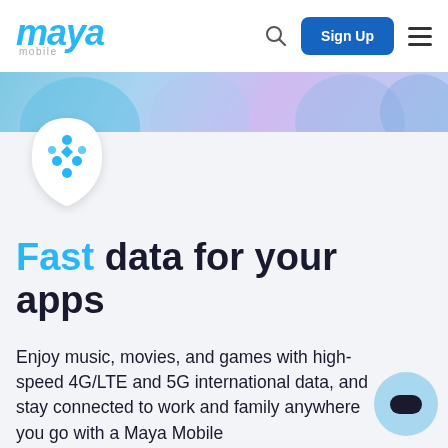maya mobile — Sign Up
[Figure (screenshot): Top banner image strip showing partial colorful illustration with blue/purple tones]
[Figure (logo): Maya Mobile app icon — shield shape with blue circular dot pattern on white background]
Fast data for your apps
Enjoy music, movies, and games with high-speed 4G/LTE and 5G international data, and stay connected to work and family anywhere you go with a Maya Mobile